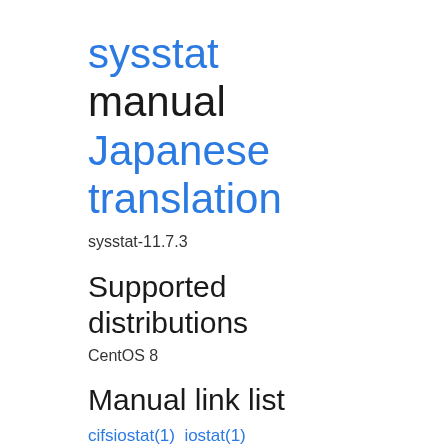sysstat manual Japanese translation
sysstat-11.7.3
Supported distributions
CentOS 8
Manual link list
cifsiostat(1)  iostat(1)
mpstat(1)  pidstat(1)  sadf(1)